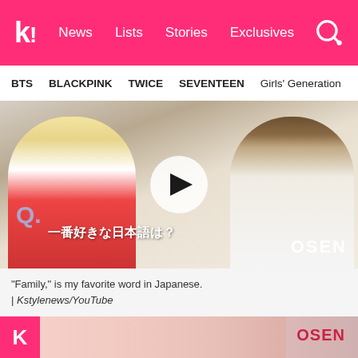k! News Lists Stories Exclusives
BTS BLACKPINK TWICE SEVENTEEN Girls' Generation
[Figure (screenshot): Video thumbnail showing two Korean pop artists with a play button overlay. Japanese text overlay reads '一番好きな日本語は？' and OSEN watermark in bottom right.]
“Family,” is my favorite word in Japanese. | Kstylenews/YouTube
Jihoon said the Japanese food he really wants to try out is takoyaki (octopus balls).
[Figure (screenshot): Bottom strip showing partial image with pink K logo on left and OSEN watermark on right.]